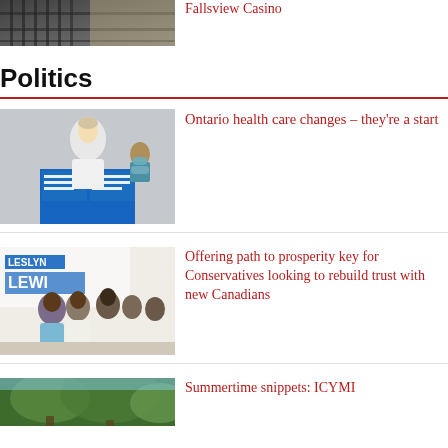[Figure (photo): Photo of casino interior with gates/metalwork]
Fallsview Casino
Politics
[Figure (photo): Woman in white jacket speaking at a podium with Plan to Stay Open / Plan pour rester ouvert sign, with masked person in background]
Ontario health care changes – they're a start
[Figure (photo): Leslyn Lewis campaign photo with supporters]
Offering path to prosperity key for Conservatives looking to rebuild trust with new Canadians
[Figure (photo): Outdoor summer scene]
Summertime snippets: ICYMI